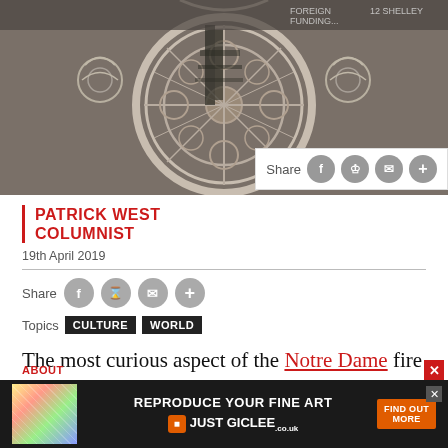[Figure (photo): Aerial or close-up view of Notre Dame cathedral rose window and spire structure during fire, in sepia/monochrome tones]
PATRICK WEST
COLUMNIST
19th April 2019
Topics  CULTURE  WORLD
The most curious aspect of the Notre Dame fire was just how upsetting it was. Not just for the onlookers, who were seen weeping openly before the blaze, but
[Figure (other): Advertisement: REPRODUCE YOUR FINE ART - JUST GICLEE.co.uk - FIND OUT MORE]